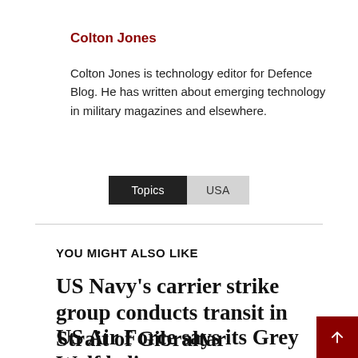Colton Jones
Colton Jones is technology editor for Defence Blog. He has written about emerging technology in military magazines and elsewhere.
Topics  USA
YOU MIGHT ALSO LIKE
US Navy’s carrier strike group conducts transit in Strait of Gibraltar
US Air Force says its Grey Wolf helicopter passes new test milestone